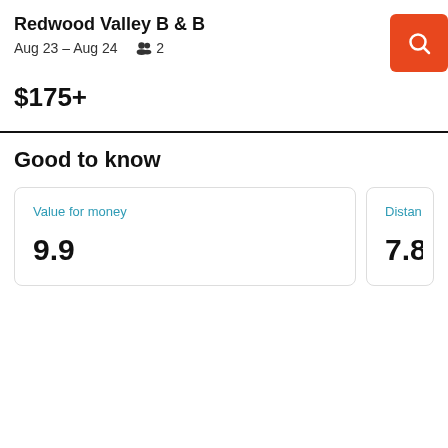Redwood Valley B & B
Aug 23 – Aug 24   2
$175+
Good to know
| Value for money | Distan |
| --- | --- |
| 9.9 | 7.8  |